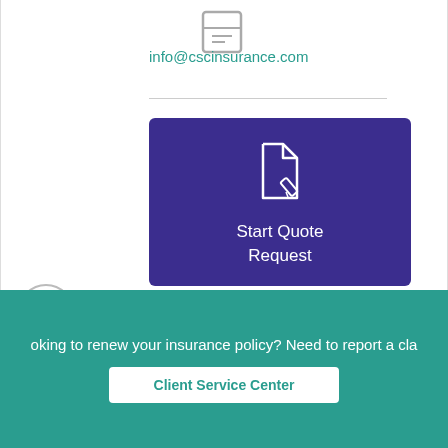[Figure (illustration): Document/file icon at the top of the page, partially visible, gray outlined envelope/document icon]
info@cscinsurance.com
[Figure (illustration): Dark purple/indigo rounded rectangle card with a white document-and-pen icon and text 'Start Quote Request']
Start Quote Request
[Figure (illustration): White circular close/X button]
oking to renew your insurance policy? Need to report a cla
Client Service Center